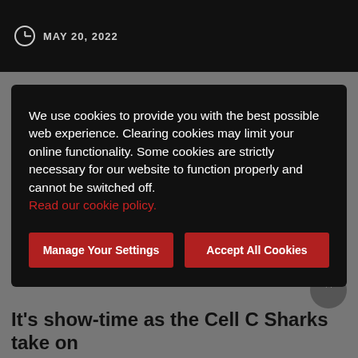MAY 20, 2022
We use cookies to provide you with the best possible web experience. Clearing cookies may limit your online functionality. Some cookies are strictly necessary for our website to function properly and cannot be switched off.
Read our cookie policy.
Manage Your Settings
Accept All Cookies
POWERED BY
MANSCAPED
It's show-time as the Cell C Sharks take on